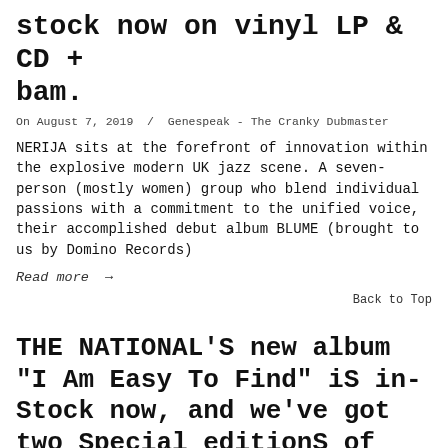stock now on vinyl LP & CD + bam.
On August 7, 2019  /  Genespeak - The Cranky Dubmaster
NERIJA sits at the forefront of innovation within the explosive modern UK jazz scene. A seven-person (mostly women) group who blend individual passions with a commitment to the unified voice, their accomplished debut album BLUME (brought to us by Domino Records)
Read more →
Back to Top
THE NATIONAL'S new album "I Am Easy To Find" is in-stock now, and we've got two Special editions of the LP along with the CD!
On June 21, 2019  /  Genespeak - The Cranky Dubmaster